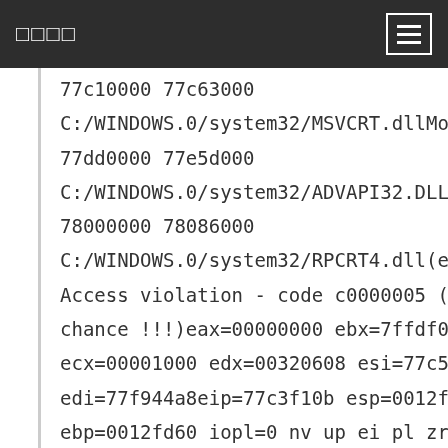□□□□
77c10000 77c63000
C:/WINDOWS.0/system32/MSVCRT.dllModLoad:
77dd0000 77e5d000
C:/WINDOWS.0/system32/ADVAPI32.DLLModLoad:
78000000 78086000
C:/WINDOWS.0/system32/RPCRT4.dll(ee8.c38):
Access violation - code c0000005 (!!! second
chance !!!)eax=00000000 ebx=7ffdf000
ecx=00001000 edx=00320608 esi=77c5aca0
edi=77f944a8eip=77c3f10b esp=0012fb0c
ebp=0012fd60 iopl=0 nv up ei pl zr na po